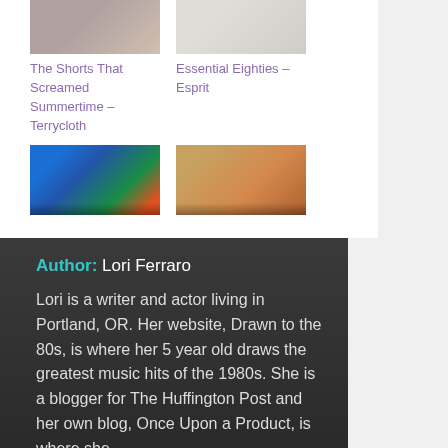[Figure (photo): Thumbnail photo of person wearing shorts (terrycloth)]
The Shorts That Screamed Summertime – Terrycloth
[Figure (photo): Thumbnail photo of person in white shirt (Esprit)]
Essential Eighties – Esprit
[Figure (photo): Tropical floral print shorts thumbnail]
[Figure (photo): Child in orange hoodie thumbnail]
Author: Lori Ferraro
Lori is a writer and actor living in Portland, OR. Her website, Drawn to the 80s, is where her 5 year old draws the greatest music hits of the 1980s. She is a blogger for The Huffington Post and her own blog, Once Upon a Product, is where she